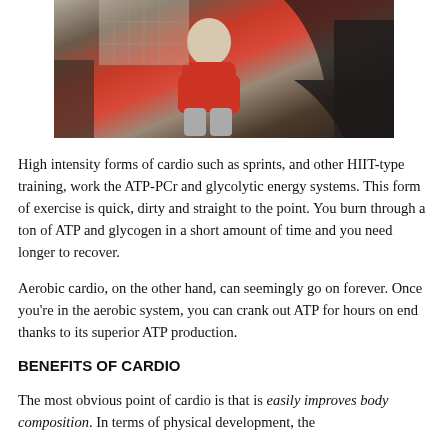[Figure (photo): Person in red shirt on exercise equipment in a gym setting]
High intensity forms of cardio such as sprints, and other HIIT-type training, work the ATP-PCr and glycolytic energy systems. This form of exercise is quick, dirty and straight to the point. You burn through a ton of ATP and glycogen in a short amount of time and you need longer to recover.
Aerobic cardio, on the other hand, can seemingly go on forever. Once you're in the aerobic system, you can crank out ATP for hours on end thanks to its superior ATP production.
BENEFITS OF CARDIO
The most obvious point of cardio is that is easily improves body composition. In terms of physical development, the